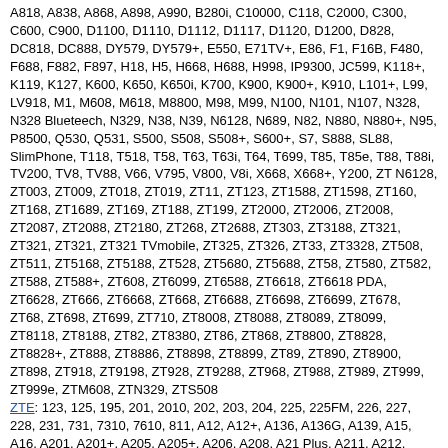A818, A838, A868, A898, A990, B280i, C10000, C118, C2000, C300, C600, C900, D1100, D1110, D1112, D1117, D1120, D1200, D828, DC818, DC888, DY579, DY579+, E550, E71TV+, E86, F1, F16B, F480, F688, F882, F897, H18, H5, H668, H688, H998, IP9300, JC599, K118+, K119, K127, K600, K650, K650i, K700, K900, K900+, K910, L101+, L99, LV918, M1, M608, M618, M8800, M98, M99, N100, N101, N107, N328, N328 Blueteech, N329, N38, N39, N6128, N689, N82, N880, N880+, N95, P8500, Q530, Q531, S500, S508, S508+, S600+, S7, S888, SL88, SlimPhone, T118, T518, T58, T63, T63i, T64, T699, T85, T85e, T88, T88i, TV200, TV8, TV88, V66, V795, V800, V8i, X668, X668+, Y200, ZT N6128, ZT003, ZT009, ZT018, ZT019, ZT11, ZT123, ZT1588, ZT1598, ZT160, ZT168, ZT1689, ZT169, ZT188, ZT199, ZT2000, ZT2006, ZT2008, ZT2087, ZT2088, ZT2180, ZT268, ZT2688, ZT303, ZT3188, ZT321, ZT321, ZT321, ZT321 TVmobile, ZT325, ZT326, ZT33, ZT3328, ZT508, ZT511, ZT5168, ZT5188, ZT528, ZT5680, ZT5688, ZT58, ZT580, ZT582, ZT588, ZT588+, ZT608, ZT6099, ZT6588, ZT6618, ZT6618 PDA, ZT6628, ZT666, ZT6668, ZT668, ZT6688, ZT6698, ZT6699, ZT678, ZT68, ZT698, ZT699, ZT710, ZT8008, ZT8088, ZT8089, ZT8099, ZT8118, ZT8188, ZT82, ZT8380, ZT86, ZT868, ZT8800, ZT8828, ZT8828+, ZT888, ZT8886, ZT8898, ZT8899, ZT89, ZT890, ZT8900, ZT898, ZT918, ZT9198, ZT928, ZT9288, ZT968, ZT988, ZT989, ZT999, ZT999e, ZTM608, ZTN329, ZTS508
ZTE: 123, 125, 195, 201, 2010, 202, 203, 204, 225, 225FM, 226, 227, 228, 231, 731, 7310, 7610, 811, A12, A12+, A136, A136G, A139, A15, A16, A201, A201+, A205, A205+, A206, A208, A21 Plus, A211, A212, A213, A215, A215+, A261, A261+, A261FM, A292, A3 2020, A301, A316i, A35, A35FM, A36, A36+, A36FM, A37, A37, A39, A5, A51, A520, A61, A611, A611+, A62, A62+, A66, A661, A68, A80, A831, A832, A833, A861, A931, A932, A933+, Amigo, Android, Aspire A3 2019, Aspire A5, Axon 20 4G, Blade, Blade A110, Blade A2 Plus, Blade A3, Blade A3 2019, Blade A3 Lite, Blade A31, Blade A31 Lite, Blade A460, Blade A5 Pro, Blade A51, Blade A520, Blade A520C, Blade A602, Blade A7 2019RU, Blade G2, Blade L110, Blade L111, Blade L130, Blade L210, Blade L5, Blade L8, Blade Lux Q, Blade S, Blade S6, Blade V6 Lite, Blade V6 Plus, Blade V7 Lite, C310, C332, C335, C340,